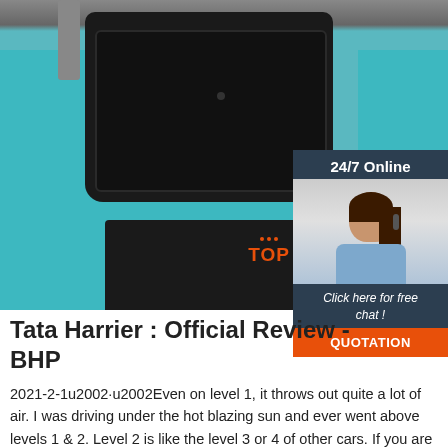[Figure (photo): Photo of a black sink/tray mounted on a teal-colored cabinet/stand, with chrome hardware visible on the left side. A dark equipment case is visible at the bottom.]
[Figure (infographic): Chat widget overlay showing '24/7 Online' header, a photo of a smiling woman with a headset, 'Click here for free chat !' text, and an orange 'QUOTATION' button.]
Tata Harrier : Official Review - BHP
2021-2-1u2002·u2002Even on level 1, it throws out quite a lot of air. I was driving under the hot blazing sun and never went above levels 1 & 2. Level 2 is like the level 3 or 4 of other cars. If you are the kind who doesn't like cold air